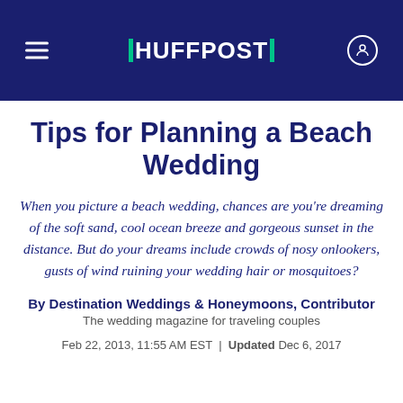HUFFPOST
Tips for Planning a Beach Wedding
When you picture a beach wedding, chances are you're dreaming of the soft sand, cool ocean breeze and gorgeous sunset in the distance. But do your dreams include crowds of nosy onlookers, gusts of wind ruining your wedding hair or mosquitoes?
By Destination Weddings & Honeymoons, Contributor
The wedding magazine for traveling couples
Feb 22, 2013, 11:55 AM EST | Updated Dec 6, 2017